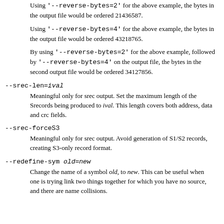Using '--reverse-bytes=2' for the above example, the bytes in the output file would be ordered 21436587.
Using '--reverse-bytes=4' for the above example, the bytes in the output file would be ordered 43218765.
By using '--reverse-bytes=2' for the above example, followed by '--reverse-bytes=4' on the output file, the bytes in the second output file would be ordered 34127856.
--srec-len=ival
Meaningful only for srec output. Set the maximum length of the Srecords being produced to ival. This length covers both address, data and crc fields.
--srec-forceS3
Meaningful only for srec output. Avoid generation of S1/S2 records, creating S3-only record format.
--redefine-sym old=new
Change the name of a symbol old, to new. This can be useful when one is trying link two things together for which you have no source, and there are name collisions.